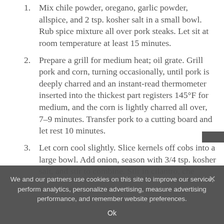1. Mix chile powder, oregano, garlic powder, allspice, and 2 tsp. kosher salt in a small bowl. Rub spice mixture all over pork steaks. Let sit at room temperature at least 15 minutes.
2. Prepare a grill for medium heat; oil grate. Grill pork and corn, turning occasionally, until pork is deeply charred and an instant-read thermometer inserted into the thickest part registers 145°F for medium, and the corn is lightly charred all over, 7–9 minutes. Transfer pork to a cutting board and let rest 10 minutes.
3. Let corn cool slightly. Slice kernels off cobs into a large bowl. Add onion, season with 3/4 tsp. kosher salt, and stir to combine. Stir in cilantro, che[cut off]
We and our partners use cookies on this site to improve our service, perform analytics, personalize advertising, measure advertising performance, and remember website preferences.